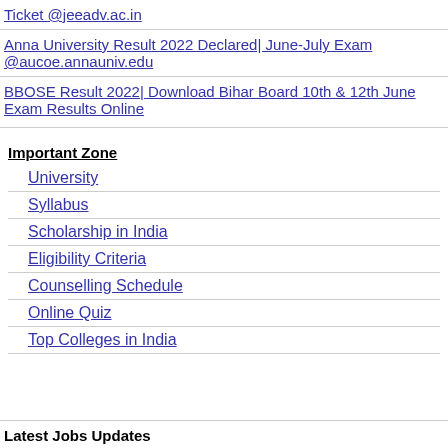Ticket @jeeadv.ac.in
Anna University Result 2022 Declared| June-July Exam @aucoe.annauniv.edu
BBOSE Result 2022| Download Bihar Board 10th & 12th June Exam Results Online
Important Zone
University
Syllabus
Scholarship in India
Eligibility Criteria
Counselling Schedule
Online Quiz
Top Colleges in India
Latest Jobs Updates